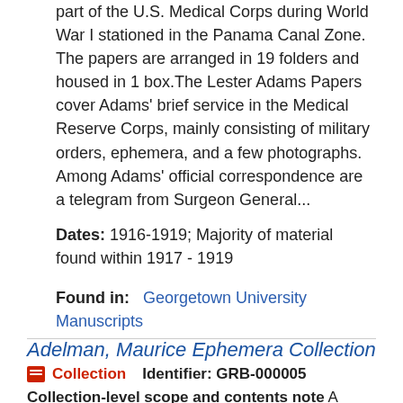part of the U.S. Medical Corps during World War I stationed in the Panama Canal Zone. The papers are arranged in 19 folders and housed in 1 box.The Lester Adams Papers cover Adams' brief service in the Medical Reserve Corps, mainly consisting of military orders, ephemera, and a few photographs. Among Adams' official correspondence are a telegram from Surgeon General...
Dates: 1916-1919; Majority of material found within 1917 - 1919
Found in: Georgetown University Manuscripts
Adelman, Maurice Ephemera Collection
Collection  Identifier: GRB-000005
Collection-level scope and contents note A collection of personal letters, booklets, ephemera, et set of...